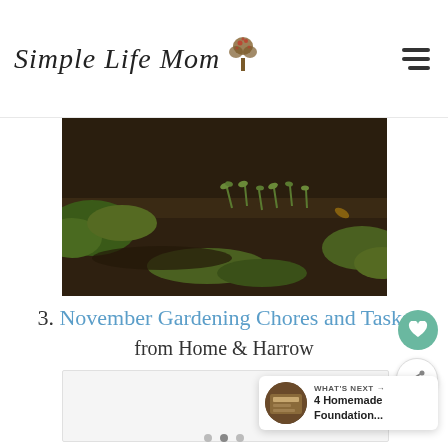Simple Life Mom
[Figure (photo): Garden bed with dark soil, grass edges, and small plant seedlings emerging from the ground]
3. November Gardening Chores and Tasks from Home & Harrow
[Figure (photo): Content placeholder box / embedded content area]
[Figure (infographic): What's next panel: thumbnail image of a Homemade Foundation product with text '4 Homemade Foundation...']